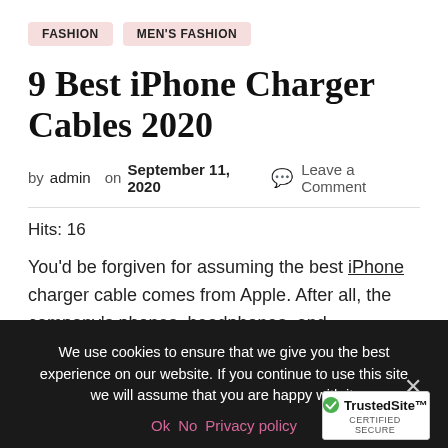FASHION  MEN'S FASHION
9 Best iPhone Charger Cables 2020
by admin  on September 11, 2020  💬 Leave a Comment
Hits: 16
You'd be forgiven for assuming the best iPhone charger cable comes from Apple. After all, the company's phones, headphones, and accessories all use a proprietary connection you won't see on any non-Apple device.
We use cookies to ensure that we give you the best experience on our website. If you continue to use this site we will assume that you are happy with it.
Ok  No  Privacy policy